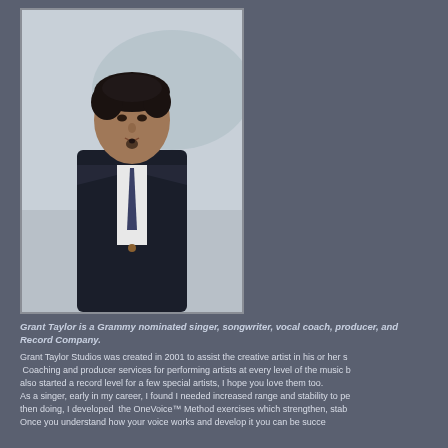[Figure (photo): Portrait photo of Grant Taylor, a man in a dark suit and patterned tie, with dark hair, standing against a blurred outdoor background]
Grant Taylor is a Grammy nominated singer, songwriter, vocal coach, producer, and Record Company.
Grant Taylor Studios was created in 2001 to assist the creative artist in his or her s  Coaching and producer services for performing artists at every level of the music b also started a record level for a few special artists, I hope you love them too. As a singer, early in my career, I found I needed increased range and stability to pe then doing, I developed  the OneVoice™ Method exercises which strengthen, stab Once you understand how your voice works and develop it you can be succe